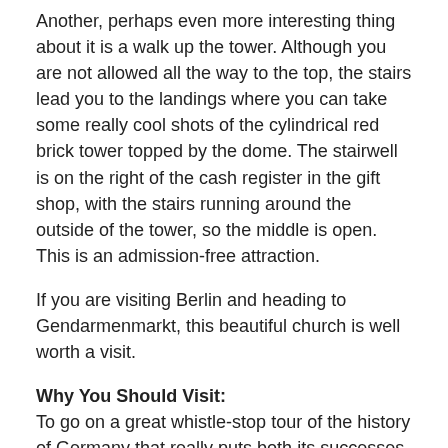Another, perhaps even more interesting thing about it is a walk up the tower. Although you are not allowed all the way to the top, the stairs lead you to the landings where you can take some really cool shots of the cylindrical red brick tower topped by the dome. The stairwell is on the right of the cash register in the gift shop, with the stairs running around the outside of the tower, so the middle is open. This is an admission-free attraction.
If you are visiting Berlin and heading to Gendarmenmarkt, this beautiful church is well worth a visit.
Why You Should Visit:
To go on a great whistle-stop tour of the history of Germany that really puts both its successes and failures into perspective.
The descriptions are in German, but the free audio guide (English/French/German) is very clear; there are also tour guides, if needed.
The building itself is interesting too.